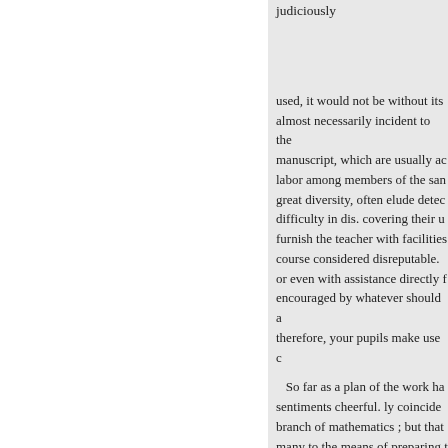judiciously
used, it would not be without its almost necessarily incident to the manuscript, which are usually ac labor among members of the san great diversity, often elude detec difficulty in dis. covering their u furnish the teacher with facilities course considered disreputable. or even with assistance directly f encouraged by whatever should a therefore, your pupils make use c
So far as a plan of the work ha sentiments cheerful. ly coincide branch of mathematics ; but that many to the means of preparing t neglect mathematical studies, wh is the earnest desire of its
« Anterior